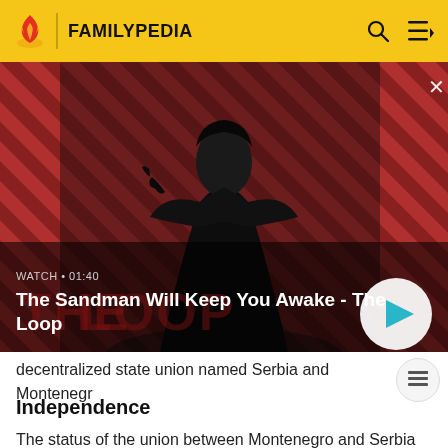FAMILYPEDIA
[Figure (screenshot): Video thumbnail for 'The Sandman Will Keep You Awake - The Loop' with a dark-cloaked figure against a red and black striped background, showing WATCH • 01:40 and a play button]
decentralized state union named Serbia and Montenegr
Independence
The status of the union between Montenegro and Serbia was decided by the referendum on Montenegrin